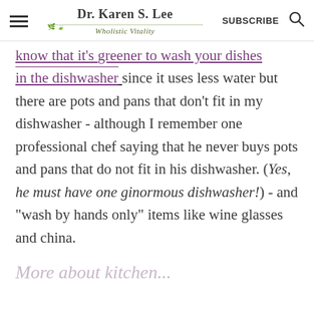Dr. Karen S. Lee — Wholistic Vitality | SUBSCRIBE
know that it's greener to wash your dishes in the dishwasher since it uses less water but there are pots and pans that don't fit in my dishwasher - although I remember one professional chef saying that he never buys pots and pans that do not fit in his dishwasher. (Yes, he must have one ginormous dishwasher!) - and "wash by hands only" items like wine glasses and china.
More about kitchen...